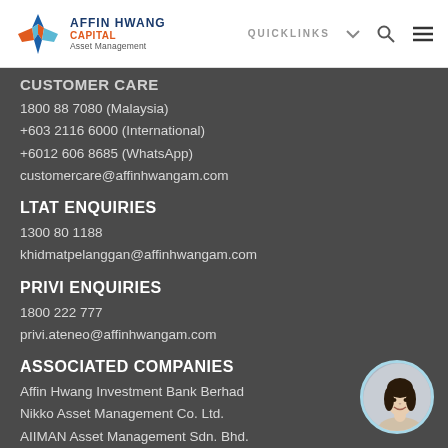Affin Hwang Capital Asset Management — QUICKLINKS nav bar
CUSTOMER CARE (partial)
1800 88 7080 (Malaysia)
+603 2116 6000 (International)
+6012 606 8685 (WhatsApp)
customercare@affinhwangam.com
LTAT ENQUIRIES
1300 80 1188
khidmatpelanggan@affinhwangam.com
PRIVI ENQUIRIES
1800 222 777
privi.ateneo@affinhwangam.com
ASSOCIATED COMPANIES
Affin Hwang Investment Bank Berhad
Nikko Asset Management Co. Ltd.
AIIMAN Asset Management Sdn. Bhd.
[Figure (photo): Circular portrait photo of a woman (customer service representative) with dark hair, against light background, with a teal/light blue circular border.]